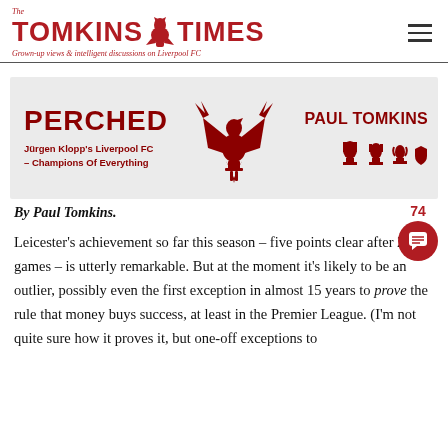[Figure (logo): The Tomkins Times logo with red Liver bird, red bold text 'TOMKINS TIMES', tagline 'Grown-up views & intelligent discussions on Liverpool FC']
[Figure (illustration): Book cover banner for 'Perched – Jürgen Klopp's Liverpool FC – Champions Of Everything' by Paul Tomkins, featuring a red phoenix, trophy icons, on a grey background]
By Paul Tomkins.
Leicester's achievement so far this season – five points clear after 29 games – is utterly remarkable. But at the moment it's likely to be an outlier, possibly even the first exception in almost 15 years to prove the rule that money buys success, at least in the Premier League. (I'm not quite sure how it proves it, but one-off exceptions to